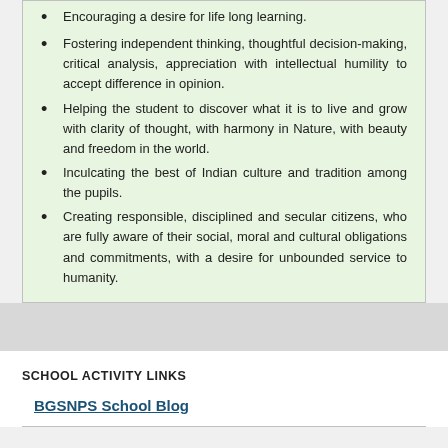Encouraging a desire for life long learning.
Fostering independent thinking, thoughtful decision-making, critical analysis, appreciation with intellectual humility to accept difference in opinion.
Helping the student to discover what it is to live and grow with clarity of thought, with harmony in Nature, with beauty and freedom in the world.
Inculcating the best of Indian culture and tradition among the pupils.
Creating responsible, disciplined and secular citizens, who are fully aware of their social, moral and cultural obligations and commitments, with a desire for unbounded service to humanity.
SCHOOL ACTIVITY LINKS
BGSNPS School Blog